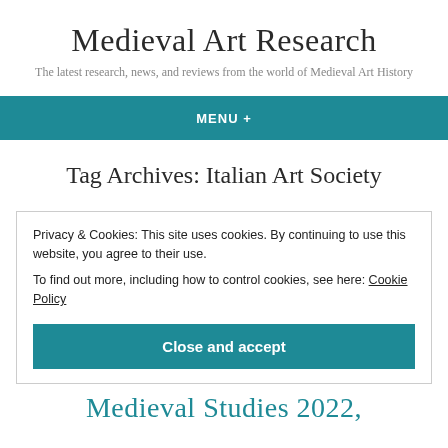Medieval Art Research
The latest research, news, and reviews from the world of Medieval Art History
MENU +
Tag Archives: Italian Art Society
Privacy & Cookies: This site uses cookies. By continuing to use this website, you agree to their use.
To find out more, including how to control cookies, see here: Cookie Policy
Close and accept
Medieval Studies 2022,